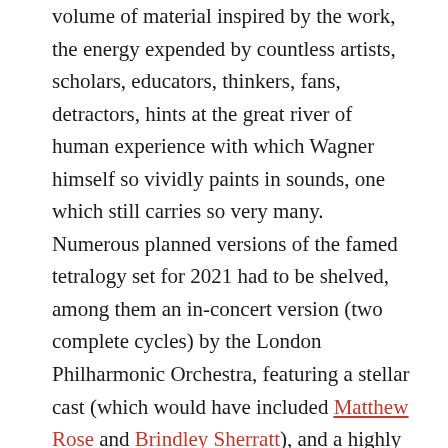volume of material inspired by the work, the energy expended by countless artists, scholars, educators, thinkers, fans, detractors, hints at the great river of human experience with which Wagner himself so vividly paints in sounds, one which still carries so very many. Numerous planned versions of the famed tetralogy set for 2021 had to be shelved, among them an in-concert version (two complete cycles) by the London Philharmonic Orchestra, featuring a stellar cast (which would have included Matthew Rose and Brindley Sherratt), and a highly anticipated production by director Valentin Schwartz for the Bayreuth Festival, which, this summer, is planning a scaled-back version of its usual giant self, like so many other festivals and institutions. In the meantime, there are streams, and